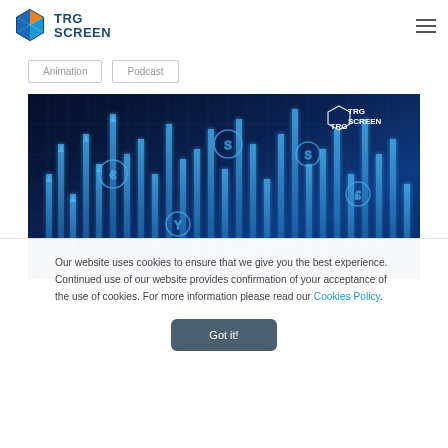TRG SCREEN
Animation
Podcast
[Figure (illustration): TRG Screen branded hero image with dark blue background showing upward-pointing glowing arrows and circular icons representing financial market data visualization]
Our website uses cookies to ensure that we give you the best experience. Continued use of our website provides confirmation of your acceptance of the use of cookies. For more information please read our Cookies Policy.
Got it!